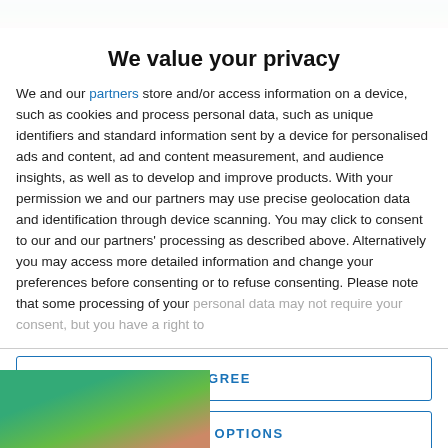[Figure (photo): Top strip showing partial colorful image (green/teal tones) behind modal overlay]
We value your privacy
We and our partners store and/or access information on a device, such as cookies and process personal data, such as unique identifiers and standard information sent by a device for personalised ads and content, ad and content measurement, and audience insights, as well as to develop and improve products. With your permission we and our partners may use precise geolocation data and identification through device scanning. You may click to consent to our and our partners' processing as described above. Alternatively you may access more detailed information and change your preferences before consenting or to refuse consenting. Please note that some processing of your personal data may not require your consent, but you have a right to
AGREE
MORE OPTIONS
[Figure (photo): Bottom strip showing partial colorful image (green/red tones)]